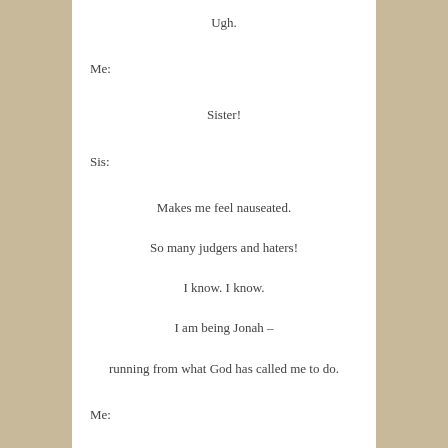Ugh.
Me:
Sister!
Sis:
Makes me feel nauseated.
So many judgers and haters!
I know. I know.
I am being Jonah –
running from what God has called me to do.
Me:
You can do it!